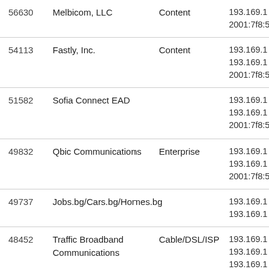| ASN | Organization | Type | Prefixes |
| --- | --- | --- | --- |
| 56630 | Melbicom, LLC | Content | 193.169.1x
2001:7f8:5x |
| 54113 | Fastly, Inc. | Content | 193.169.1x
193.169.1x
2001:7f8:5x |
| 51582 | Sofia Connect EAD |  | 193.169.1x
193.169.1x
2001:7f8:5x |
| 49832 | Qbic Communications | Enterprise | 193.169.1x
193.169.1x
2001:7f8:5x |
| 49737 | Jobs.bg/Cars.bg/Homes.bg |  | 193.169.1x
193.169.1x |
| 48452 | Traffic Broadband Communications | Cable/DSL/ISP | 193.169.1x
193.169.1x
193.169.1x |
| 48115 | Sensika Technologies |  | 193.169.1x
193.169.1x |
| 47697 | BIX.BG External AS | Enterprise | 193.169.1x |